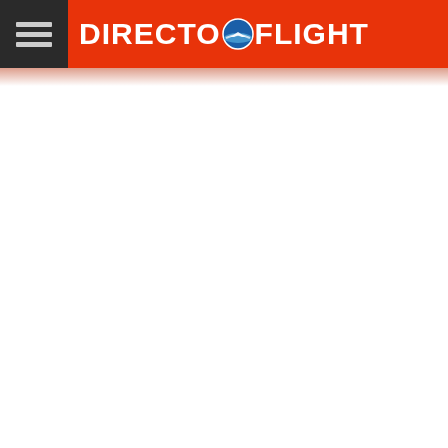[Figure (logo): DirectoFlight logo on red header bar with hamburger menu icon on left and white bold text DIRECTOFLIGHT with a globe icon replacing the O between DIRECTO and FLIGHT]